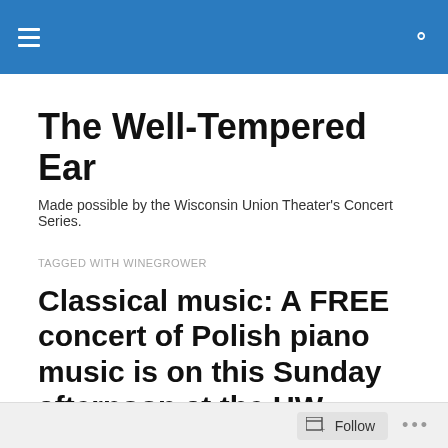The Well-Tempered Ear — site navigation header with hamburger menu and search icon
The Well-Tempered Ear
Made possible by the Wisconsin Union Theater's Concert Series.
TAGGED WITH WINEGROWER
Classical music: A FREE concert of Polish piano music is on this Sunday afternoon at the UW-Madison
IF YOU LIKE A CERTAIN BLOG POST, PLEASE
Follow